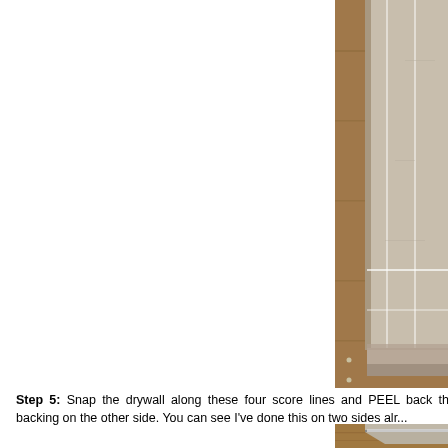[Figure (photo): Close-up photo of drywall corner on a wooden floor showing four vertical and horizontal score lines cut into the drywall surface. The drywall appears grey/tan and is resting on a hardwood floor. Screws or nails are visible on the left edge.]
Step 5: Snap the drywall along these four score lines and PEEL back the backing on the other side. You can see I've done this on two sides alr...
[Figure (photo): Partial photo showing the bottom edge of drywall on a wooden floor after snapping and peeling, with a metal straight edge or strip visible along the edge.]